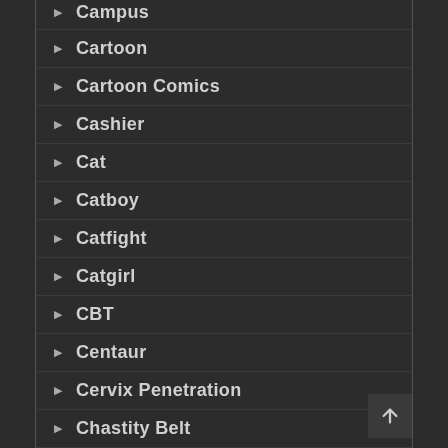Campus
Cartoon
Cartoon Comics
Cashier
Cat
Catboy
Catfight
Catgirl
CBT
Centaur
Cervix Penetration
Chastity Belt
Cheating
Cheerleader